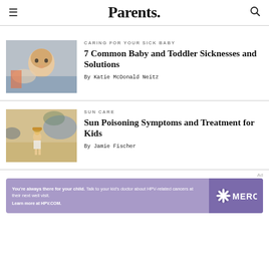Parents.
CARING FOR YOUR SICK BABY
7 Common Baby and Toddler Sicknesses and Solutions
By Katie McDonald Neitz
SUN CARE
Sun Poisoning Symptoms and Treatment for Kids
By Jamie Fischer
Ad
You're always there for your child. Talk to your kid's doctor about HPV-related cancers at their next well visit. Learn more at HPV.COM.
[Figure (logo): Merck logo with stylized icon and MERCK text on purple background]